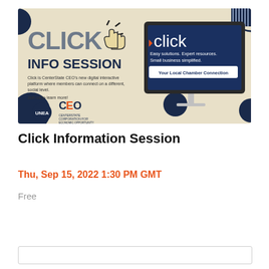[Figure (infographic): Click Info Session promotional banner. Left side has beige background with 'CLICK' in large gray letters and 'INFO SESSION' in dark blue, a hand cursor icon, and text: 'Click is CenterState CEO's new digital interactive platform where members can connect on a different, social level. Join us to learn more!' and UNEA and CenterState CEO logos. Right side shows an iMac monitor with dark blue screen displaying 'click' logo, 'Easy solutions. Expert resources. Small business simplified.' and 'Your Local Chamber Connection' button. Dark blue decorative circles in corners.]
Click Information Session
Thu, Sep 15, 2022 1:30 PM GMT
Free